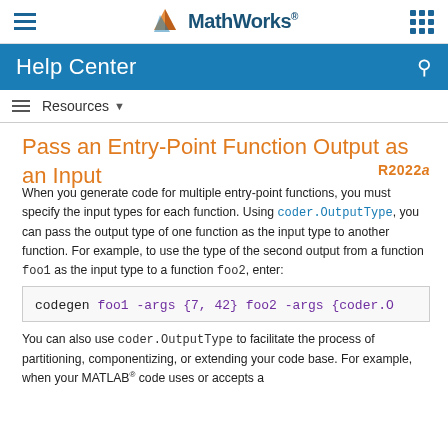MathWorks Help Center
Resources
Pass an Entry-Point Function Output as an Input
When you generate code for multiple entry-point functions, you must specify the input types for each function. Using coder.OutputType, you can pass the output type of one function as the input type to another function. For example, to use the type of the second output from a function foo1 as the input type to a function foo2, enter:
codegen foo1 -args {7, 42} foo2 -args {coder.O
You can also use coder.OutputType to facilitate the process of partitioning, componentizing, or extending your code base. For example, when your MATLAB® code uses or accepts a